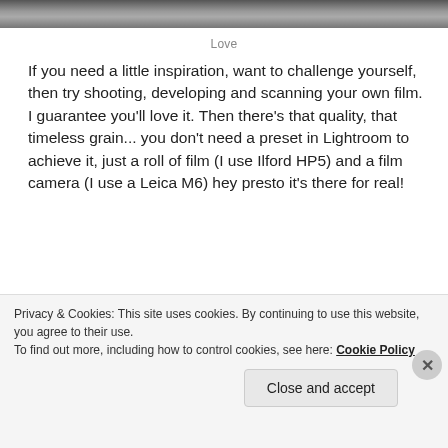[Figure (photo): Top portion of a black and white street photograph, cropped to show only the upper edge]
Love
If you need a little inspiration, want to challenge yourself, then try shooting, developing and scanning your own film. I guarantee you'll love it. Then there's that quality, that timeless grain... you don't need a preset in Lightroom to achieve it, just a roll of film (I use Ilford HP5) and a film camera (I use a Leica M6) hey presto it's there for real!
[Figure (photo): Black and white photograph, mostly dark/black with a faint silhouette detail in the lower right]
Privacy & Cookies: This site uses cookies. By continuing to use this website, you agree to their use.
To find out more, including how to control cookies, see here: Cookie Policy
Close and accept